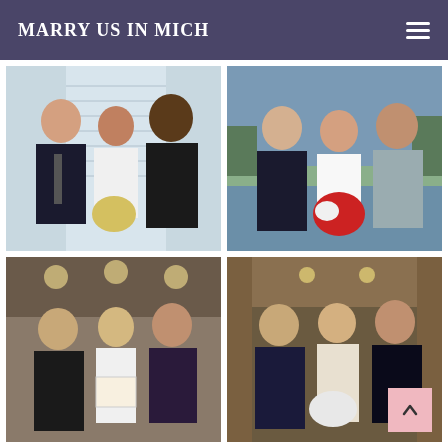MARRY US IN MICH
[Figure (photo): Wedding photo: officiant in dark suit with bride in white dress holding yellow/white bouquet and groom in dark suit, indoors with window blinds background]
[Figure (photo): Wedding photo: officiant in dark suit with bride in white wedding dress holding red and white bouquet and groom in grey suit, outdoors by a lake]
[Figure (photo): Wedding photo: officiant with bride in white dress and groom in dark suit holding marriage certificate, indoors at restaurant]
[Figure (photo): Wedding photo: officiant in robe with bride in white sequined gown and groom in dark tuxedo, indoors at ornate venue]